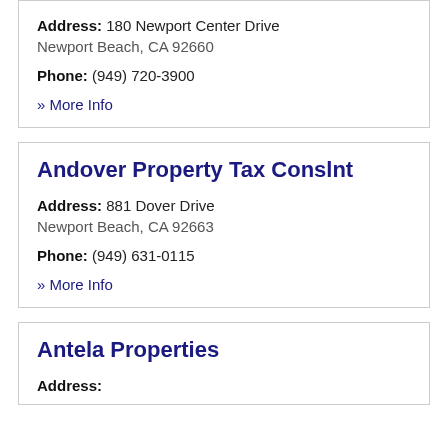Address: 180 Newport Center Drive Newport Beach, CA 92660
Phone: (949) 720-3900
» More Info
Andover Property Tax Conslnt
Address: 881 Dover Drive Newport Beach, CA 92663
Phone: (949) 631-0115
» More Info
Antela Properties
Address: